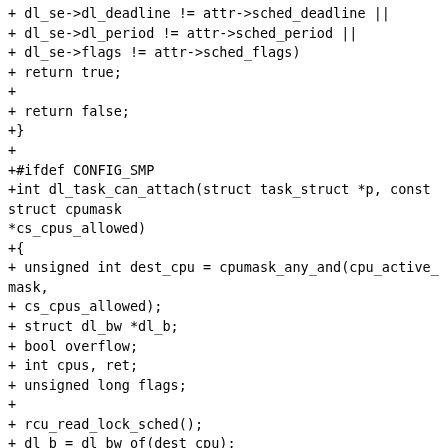+ dl_se->dl_deadline != attr->sched_deadline ||
+ dl_se->dl_period != attr->sched_period ||
+ dl_se->flags != attr->sched_flags)
+ return true;
+
+ return false;
+}
+
+#ifdef CONFIG_SMP
+int dl_task_can_attach(struct task_struct *p, const struct cpumask *cs_cpus_allowed)
+{
+ unsigned int dest_cpu = cpumask_any_and(cpu_active_mask,
+ cs_cpus_allowed);
+ struct dl_bw *dl_b;
+ bool overflow;
+ int cpus, ret;
+ unsigned long flags;
+
+ rcu_read_lock_sched();
+ dl_b = dl_bw_of(dest_cpu);
+ raw_spin_lock_irqsave(&dl_b->lock, flags);
+ cpus = dl_bw_cpus(dest_cpu);
+ overflow = __dl_overflow(dl_b, cpus, 0, p->dl.dl_bw);
+ if (overflow)